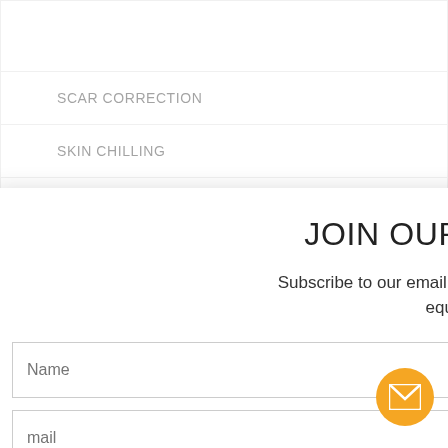| SCAR CORRECTION |
| SKIN CHILLING |
| STRETCH MARKS REMOVAL |
| SURGICAL |
JOIN OUR MAILING LIST
Subscribe to our email list to receive updates on our latest equipment listings.
Name
mail
Sign Up!
[Figure (illustration): Orange circular email/envelope icon button in bottom-right corner]